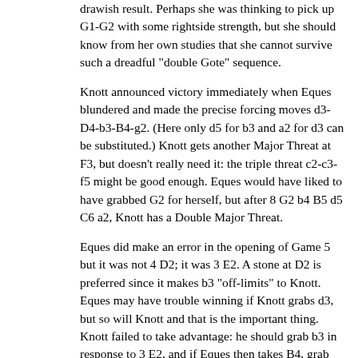drawish result. Perhaps she was thinking to pick up G1-G2 with some rightside strength, but she should know from her own studies that she cannot survive such a dreadful "double Gote" sequence.
Knott announced victory immediately when Eques blundered and made the precise forcing moves d3-D4-b3-B4-g2. (Here only d5 for b3 and a2 for d3 can be substituted.) Knott gets another Major Threat at F3, but doesn't really need it: the triple threat c2-c3-f5 might be good enough. Eques would have liked to have grabbed G2 for herself, but after 8 G2 b4 B5 d5 C6 a2, Knott has a Double Major Threat.
Eques did make an error in the opening of Game 5 but it was not 4 D2; it was 3 E2. A stone at D2 is preferred since it makes b3 "off-limits" to Knott. Eques may have trouble winning if Knott grabs d3, but so will Knott and that is the important thing. Knott failed to take advantage: he should grab b3 in response to 3 E2, and if Eques then takes B4, grab d2.
In Game 6
Knott resigned after playing only five stones. He has little influence on either the 2nd or 3rd rows. Eventually the play will be d2-D3-e3-E4-c2-C3 with Eques getting an Odd